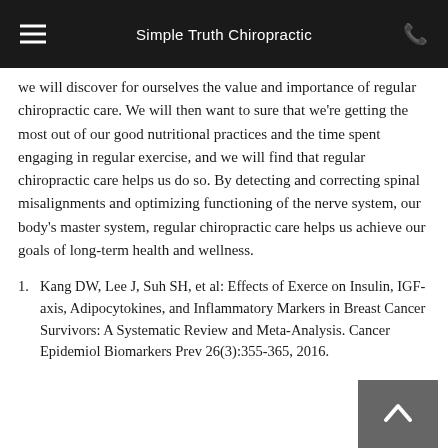Simple Truth Chiropractic
we will discover for ourselves the value and importance of regular chiropractic care. We will then want to sure that we're getting the most out of our good nutritional practices and the time spent engaging in regular exercise, and we will find that regular chiropractic care helps us do so. By detecting and correcting spinal misalignments and optimizing functioning of the nerve system, our body's master system, regular chiropractic care helps us achieve our goals of long-term health and wellness.
Kang DW, Lee J, Suh SH, et al: Effects of Exercise on Insulin, IGF-axis, Adipocytokines, and Inflammatory Markers in Breast Cancer Survivors: A Systematic Review and Meta-Analysis. Cancer Epidemiol Biomarkers Prev 26(3):355-365, 2016.